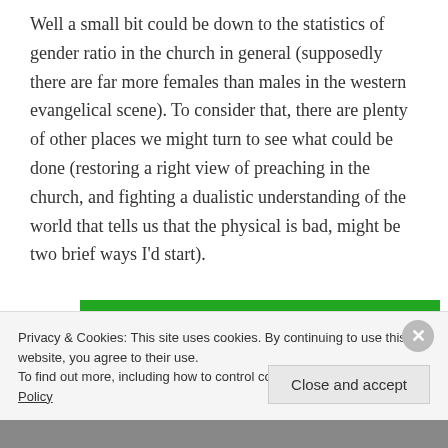Well a small bit could be down to the statistics of gender ratio in the church in general (supposedly there are far more females than males in the western evangelical scene).  To consider that, there are plenty of other places we might turn to see what could be done (restoring a right view of preaching in the church, and fighting a dualistic understanding of the world that tells us that the physical is bad, might be two brief ways I'd start).
[Figure (other): Green advertisement banner reading 'You run your business.' with a white button 'Secure Your Site']
Privacy & Cookies: This site uses cookies. By continuing to use this website, you agree to their use.
To find out more, including how to control cookies, see here: Cookie Policy
Close and accept